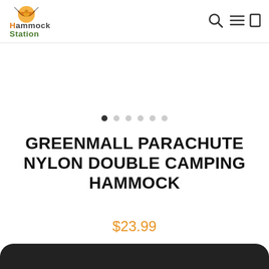[Figure (logo): Hammock Station logo with cartoon hammock graphic and orange/green text reading HAMMOCK STATION]
[Figure (other): Navigation icons: search magnifier, hamburger menu, and cart/square icon]
[Figure (other): Carousel dots row: 6 dots, first one filled/dark, rest grey]
GREENMALL PARACHUTE NYLON DOUBLE CAMPING HAMMOCK
$23.99
Free worldwide shipping